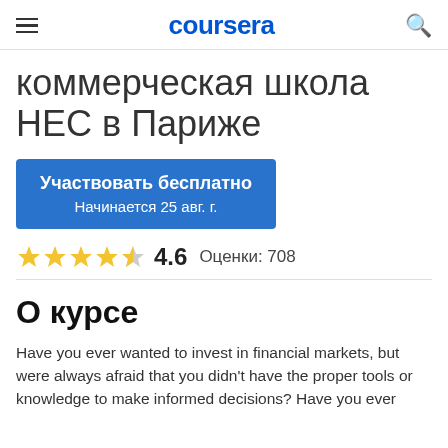coursera
коммерческая школа HEC в Париже
Участвовать бесплатно
Начинается 25 авг. г.
4.6  Оценки: 708
О курсе
Have you ever wanted to invest in financial markets, but were always afraid that you didn't have the proper tools or knowledge to make informed decisions? Have you ever